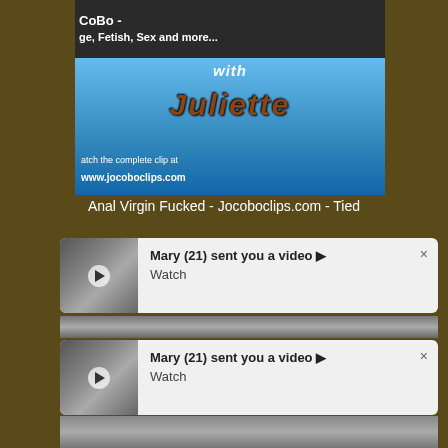[Figure (screenshot): Video banner for JoBo / Juliette adult clip with blue background and text overlays including 'with Juliette', 'watch the complete clip at www.jocoboclips.com']
Anal Virgin Fucked - Jocoboclips.com - Tied
[Figure (screenshot): Notification card: Mary (21) sent you a video ▶ Watch]
[Figure (screenshot): Notification card: Mary (21) sent you a video ▶ Watch]